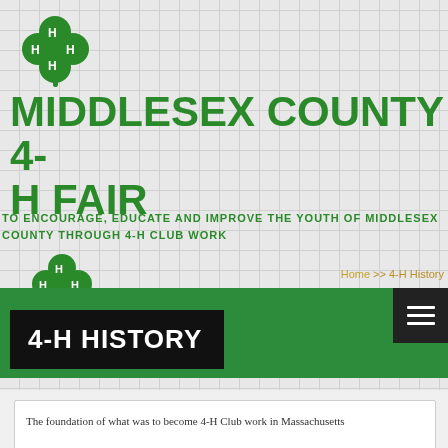[Figure (logo): 4-H clover logo with H letters in each leaf, green color, top left]
MIDDLESEX COUNTY 4-H FAIR
TO ENCOURAGE, EDUCATE AND IMPROVE THE YOUTH OF MIDDLESEX COUNTY THROUGH 4-H CLUB WORK
[Figure (logo): 4-H clover logo with H letters in each leaf, green color, smaller]
Home >> 4-H History
4-H HISTORY
The foundation of what was to become 4-H Club work in Massachusetts